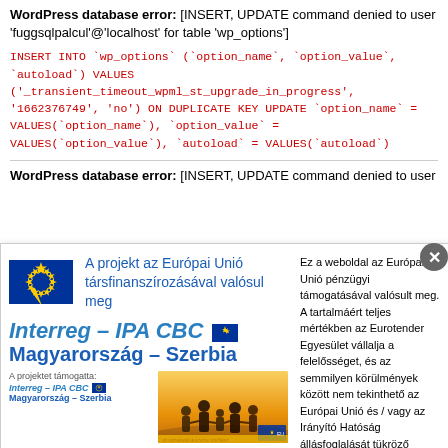WordPress database error: [INSERT, UPDATE command denied to user 'fuggsqlpalcul'@'localhost' for table 'wp_options']
INSERT INTO `wp_options` (`option_name`, `option_value`, `autoload`) VALUES ('_transient_timeout_wpml_st_upgrade_in_progress', '1662376749', 'no') ON DUPLICATE KEY UPDATE `option_name` = VALUES(`option_name`), `option_value` = VALUES(`option_value`), `autoload` = VALUES(`autoload`)
WordPress database error: [INSERT, UPDATE command denied to user
[Figure (other): Popup overlay showing EU/Interreg IPA CBC Magyarország–Szerbia project logo and funding disclaimer text in Hungarian, with a photo of people holding hands at sunset and a close button.]